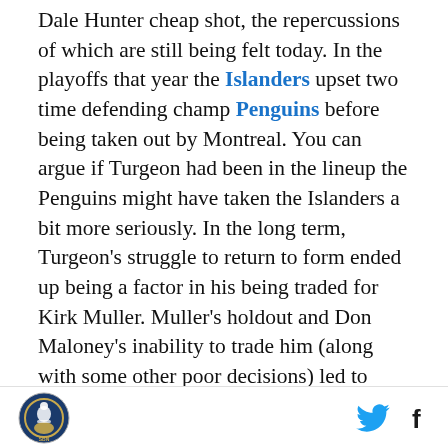Dale Hunter cheap shot, the repercussions of which are still being felt today. In the playoffs that year the Islanders upset two time defending champ Penguins before being taken out by Montreal. You can argue if Turgeon had been in the lineup the Penguins might have taken the Islanders a bit more seriously. In the long term, Turgeon's struggle to return to form ended up being a factor in his being traded for Kirk Muller. Muller's holdout and Don Maloney's inability to trade him (along with some other poor decisions) led to Maloney being fired and replaced by recently hired head coach Mike Milbury. The rest is history, but after the jump I imagine what might have been.

Following their first round victory over the Capitals, the
[SB Nation logo] [Twitter icon] [Facebook icon]